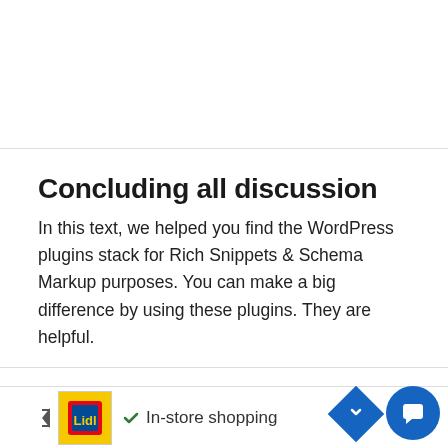Concluding all discussion
In this text, we helped you find the WordPress plugins stack for Rich Snippets & Schema Markup purposes. You can make a big difference by using these plugins. They are helpful.
[Figure (other): Advertisement banner with Lidl logo, checkmark icon, and text 'In-store shopping', with navigation and chat buttons]